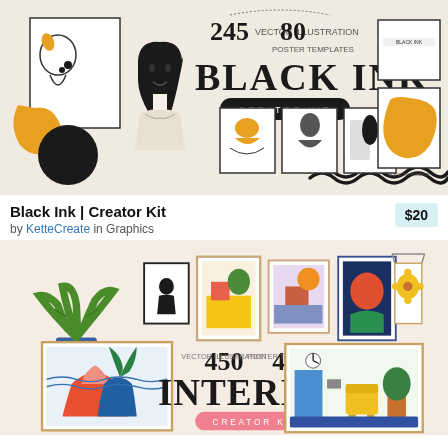[Figure (illustration): Black Ink Creator Kit product preview image showing vector illustrations, poster templates, and decorative elements on a cream background. Features numbers 245 and 80, a bold 'BLACK INK' title with 'CREATOR KIT' subtitle in a black pill shape, illustrated portraits, abstract shapes, and framed art prints.]
Black Ink | Creator Kit
by KetteCreate in Graphics
$20
[Figure (illustration): Interior Creator Kit product preview image showing colorful illustrations of plants, framed art posters, and interior decor scenes on a cream background. Features numbers 450 and 40, an 'INTERIOR' title with 'CREATOR KIT' subtitle.]